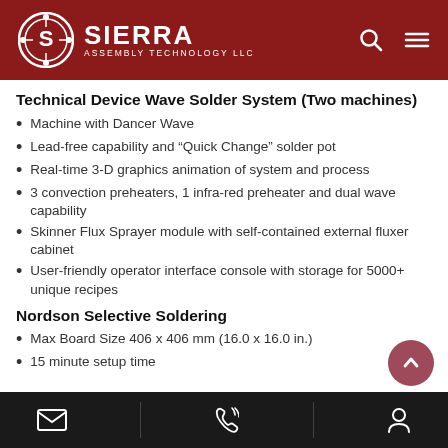Sierra Assembly Technology LLC
Technical Device Wave Solder System (Two machines)
Machine with Dancer Wave
Lead-free capability and “Quick Change” solder pot
Real-time 3-D graphics animation of system and process
3 convection preheaters, 1 infra-red preheater and dual wave capability
Skinner Flux Sprayer module with self-contained external fluxer cabinet
User-friendly operator interface console with storage for 5000+ unique recipes
Nordson Selective Soldering
Max Board Size 406 x 406 mm (16.0 x 16.0 in.)
15 minute setup time
Contact icons: email, phone, user